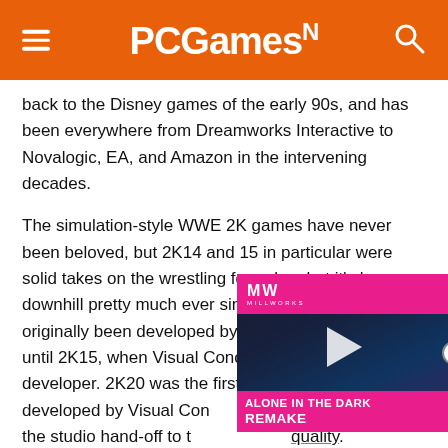PCGamesN
back to the Disney games of the early 90s, and has been everywhere from Dreamworks Interactive to Novalogic, EA, and Amazon in the intervening decades.
The simulation-style WWE 2K games have never been beloved, but 2K14 and 15 in particular were solid takes on the wrestling formula – but it's been downhill pretty much ever since. The series had originally been developed by Japanese studio Yuke's until 2K15, when Visual Concepts came on as a co-developer. 2K20 was the first title to be solely developed by Visual Concepts, and many attribute the studio hand-off to the decline in quality.
[Figure (screenshot): Video player overlay showing 'Alone in the Dark Remake' with MW logo and pink/magenta branding]
But as for 2020, we are getting Battlegrounds. It's coming courtesy of developer Saber